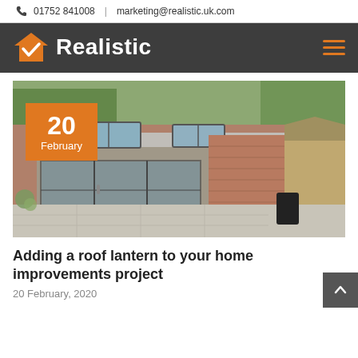📞 01752 841008  |  marketing@realistic.uk.com
[Figure (logo): Realistic logo with orange house checkmark icon and white bold text 'Realistic' on dark grey background]
[Figure (photo): Exterior photo of a modern home extension with flat roof, skylight roof lanterns, large sliding glass doors, and brick walls. Orange date badge overlaid reading '20 February'.]
Adding a roof lantern to your home improvements project
20 February, 2020